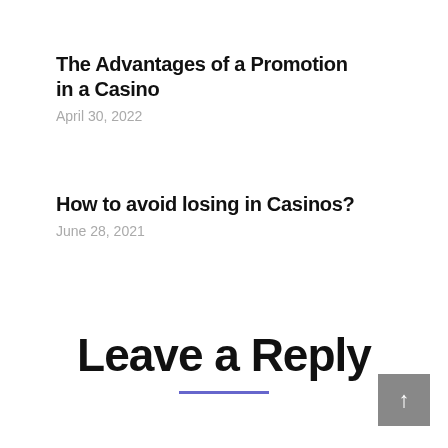The Advantages of a Promotion in a Casino
April 30, 2022
How to avoid losing in Casinos?
June 28, 2021
Leave a Reply